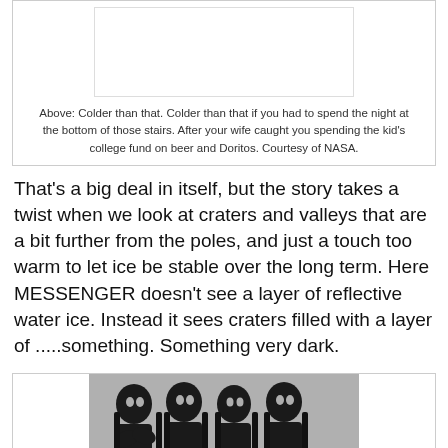[Figure (photo): White/blank image placeholder at top of page]
Above: Colder than that. Colder than that if you had to spend the night at the bottom of those stairs. After your wife caught you spending the kid's college fund on beer and Doritos. Courtesy of NASA.
That's a big deal in itself, but the story takes a twist when we look at craters and valleys that are a bit further from the poles, and just a touch too warm to let ice be stable over the long term. Here MESSENGER doesn't see a layer of reflective water ice. Instead it sees craters filled with a layer of .....something. Something very dark.
[Figure (photo): Black and white photo of four people wearing dark clothes and heavy black face makeup (corpse paint), resembling a heavy metal band photo.]